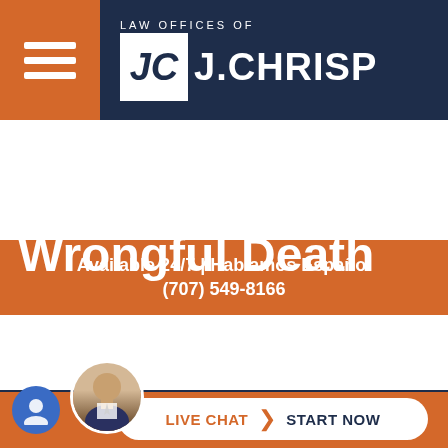[Figure (logo): Law Offices of J. Chrisp logo with JC monogram badge on dark navy background with hamburger menu icon in orange box]
Available 24/7 | Hablamos Español
(707) 549-8166
[Figure (photo): Lady Justice statue silhouette against dark navy blue background]
Wrongful Death
Wrongful Death
[Figure (photo): Live chat widget with attorney photo avatar and Start Now button]